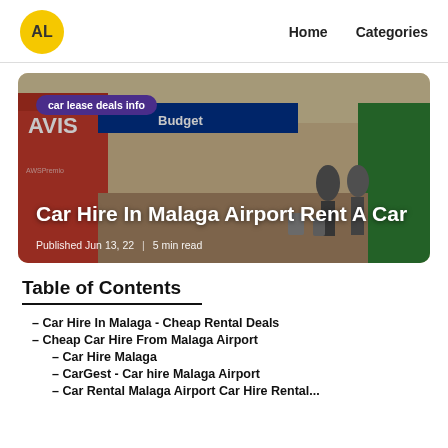AL | Home | Categories
[Figure (photo): Airport car rental counter with Avis and Budget signage; travelers with luggage in background. Overlay tag: 'car lease deals info'. Title: 'Car Hire In Malaga Airport Rent A Car'. Published Jun 13, 22 | 5 min read.]
Table of Contents
Car Hire In Malaga - Cheap Rental Deals
Cheap Car Hire From Malaga Airport
Car Hire Malaga
CarGest - Car hire Malaga Airport
Car Rental Malaga Airport Car Hire Rental...